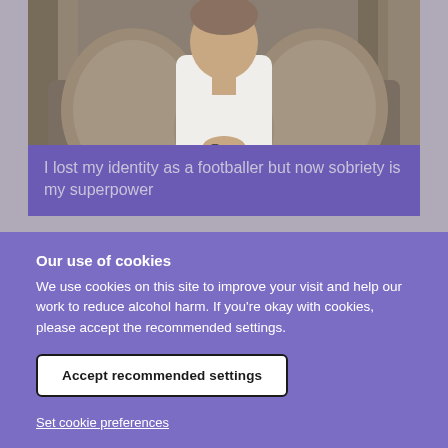[Figure (photo): A person sitting on a couch with decorative cushions, wearing a white t-shirt, hands clasped. Background shows a wooden frame with cushions.]
I lost my identity as a footballer but now sobriety is my superpower
Our use of cookies
We use cookies on this site to improve your visit and help our work to reduce alcohol harm. If you're okay with cookies, please accept the recommended settings.
Accept recommended settings
Set cookie preferences